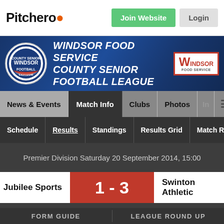[Figure (screenshot): Pitchero logo with flame icon]
Join Website
Login
[Figure (logo): Windsor Food Service County Senior Football League banner with circular Windsor logo on left, league name text in center, Windsor Food Service sponsor box on right]
News & Events
Match Info
Clubs
Photos
In
Schedule
Results
Standings
Results Grid
Match Repo
Premier Division Saturday 20 September 2014, 15:00
| Home | Score | Away |
| --- | --- | --- |
| Jubilee Sports | 1 - 3 | Swinton Athletic |
FORM GUIDE
LEAGUE ROUND UP